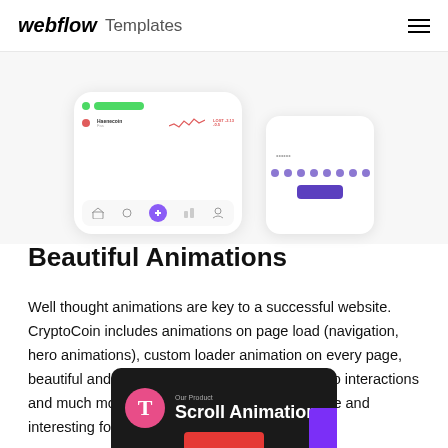webflow Templates
[Figure (screenshot): Two app UI mockup cards: a phone app card showing a crypto dashboard with green and red indicators and bottom navigation, and a tablet/phone card showing password dots and a purple bar.]
Beautiful Animations
Well thought animations are key to a successful website. CryptoCoin includes animations on page load (navigation, hero animations), custom loader animation on every page, beautiful and creative scrolling animations, micro interactions and much more! It makes this website interactive and interesting for users.
[Figure (screenshot): Dark-themed screenshot showing 'Our Product' label, a pink circle with letter T, and 'Scroll Animation' text, with red play button below and purple partial element at right.]